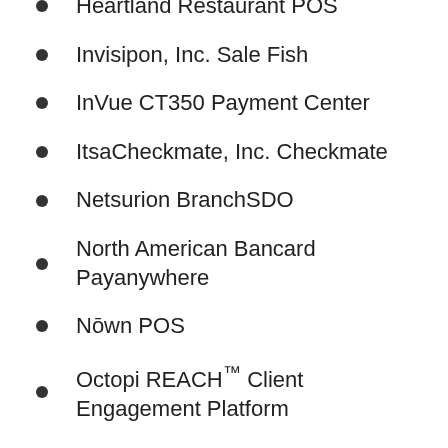Heartland Restaurant POS
Invisipon, Inc. Sale Fish
InVue CT350 Payment Center
ItsaCheckmate, Inc. Checkmate
Netsurion BranchSDO
North American Bancard Payanywhere
Nōwn POS
Octopi REACH™ Client Engagement Platform
OneDine
PAR Brink POS and PAR Hardware
Payble
Payment Logistics Limited PayLink
Posera KDS